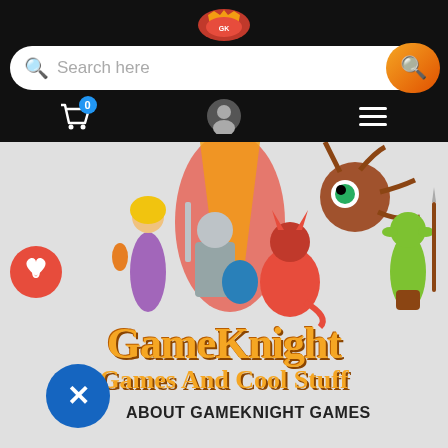[Figure (logo): GameKnight Games logo icon at top of navigation bar]
[Figure (screenshot): Search bar with magnifying glass icon on left, 'Search here' placeholder text, and orange circular search button on right]
[Figure (screenshot): Navigation icon row with shopping cart (badge 0), user profile icon, and hamburger menu on dark background]
[Figure (illustration): GameKnight Games banner illustration showing fantasy characters: a blonde woman in purple, an armored knight, a red devil creature, a brown tentacled monster, and a green goblin with spear, with 'GameKnight Games And Cool Stuff' text in orange medieval font]
ABOUT GAMEKNIGHT GAMES